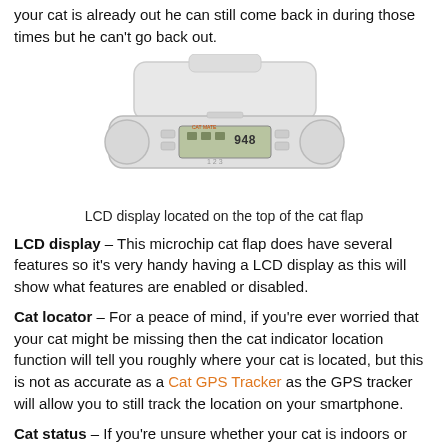your cat is already out he can still come back in during those times but he can't go back out.
[Figure (photo): Photo of a white microchip cat flap device with LCD display showing icons and numbers on top]
LCD display located on the top of the cat flap
LCD display – This microchip cat flap does have several features so it's very handy having a LCD display as this will show what features are enabled or disabled.
Cat locator – For a peace of mind, if you're ever worried that your cat might be missing then the cat indicator location function will tell you roughly where your cat is located, but this is not as accurate as a Cat GPS Tracker as the GPS tracker will allow you to still track the location on your smartphone.
Cat status – If you're unsure whether your cat is indoors or outside, then you can check their status on the LCD screen, you can also check the time they last used the cat flap.